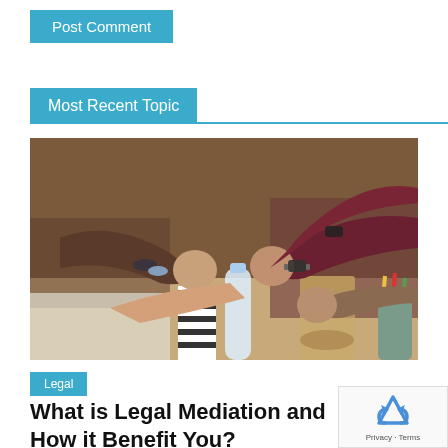Post Comment
Most Recent Topic
[Figure (photo): Multiple people performing a fist bump over a table with a water bottle, glass jar, pencil cup, and papers visible in the background.]
Legal
What is Legal Mediation and How it Benefit You?